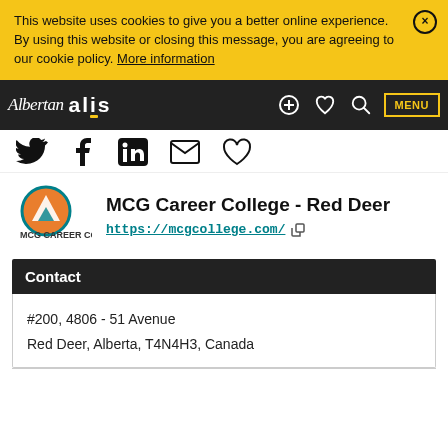This website uses cookies to give you a better online experience. By using this website or closing this message, you are agreeing to our cookie policy. More information
Albertan alis — MENU
[Figure (other): Social media icons: Twitter, Facebook, LinkedIn, Email, Heart/Save]
MCG Career College - Red Deer
https://mcgcollege.com/
[Figure (logo): MCG Career College logo — orange/teal mountain icon with MCG text]
Contact
#200, 4806 - 51 Avenue
Red Deer, Alberta, T4N4H3, Canada